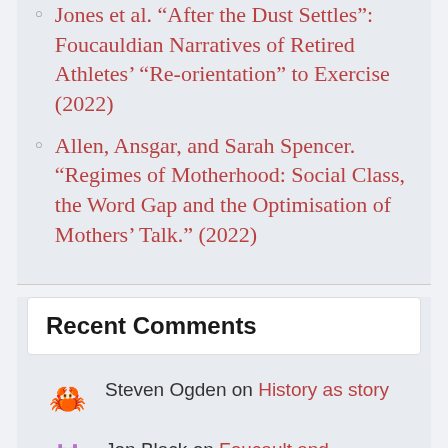Jones et al. “After the Dust Settles”: Foucauldian Narratives of Retired Athletes’ “Re-orientation” to Exercise (2022)
Allen, Ansgar, and Sarah Spencer. “Regimes of Motherhood: Social Class, the Word Gap and the Optimisation of Mothers’ Talk.” (2022)
Recent Comments
Steven Ogden on History as story
Jon Black on Foucault and